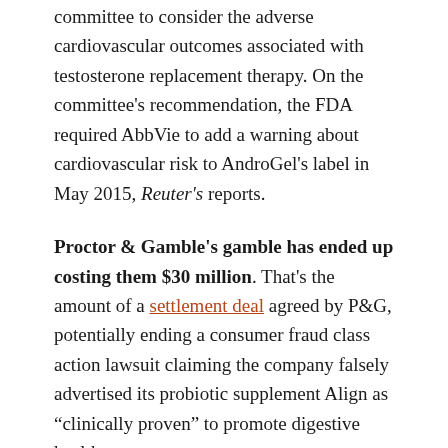committee to consider the adverse cardiovascular outcomes associated with testosterone replacement therapy. On the committee's recommendation, the FDA required AbbVie to add a warning about cardiovascular risk to AndroGel's label in May 2015, Reuter's reports.
Proctor & Gamble's gamble has ended up costing them $30 million. That's the amount of a settlement deal agreed by P&G, potentially ending a consumer fraud class action lawsuit claiming the company falsely advertised its probiotic supplement Align as "clinically proven" to promote digestive health.